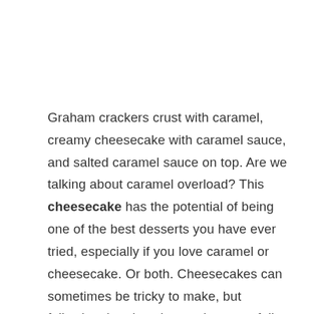Graham crackers crust with caramel, creamy cheesecake with caramel sauce, and salted caramel sauce on top. Are we talking about caramel overload? This cheesecake has the potential of being one of the best desserts you have ever tried, especially if you love caramel or cheesecake. Or both. Cheesecakes can sometimes be tricky to make, but following the given instructions carefully, you won't have any problems preparing them.